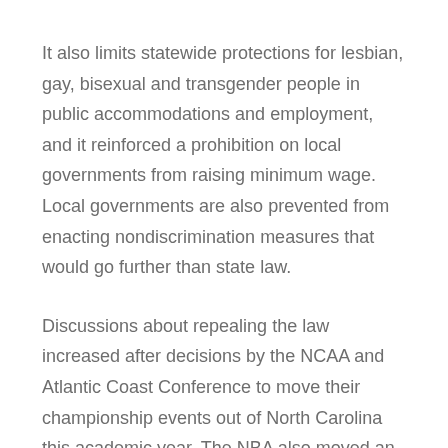It also limits statewide protections for lesbian, gay, bisexual and transgender people in public accommodations and employment, and it reinforced a prohibition on local governments from raising minimum wage. Local governments are also prevented from enacting nondiscrimination measures that would go further than state law.
Discussions about repealing the law increased after decisions by the NCAA and Atlantic Coast Conference to move their championship events out of North Carolina this academic year. The NBA also moved an All-Star Game out of Charlotte.
LGBT groups, which had fought any deal with legislators earlier this year to do away with the Charlotte ordinance, are now on board if the result is the end of HB2.
“Full and complete repeal of HB2 is the only acceptable outcome,”